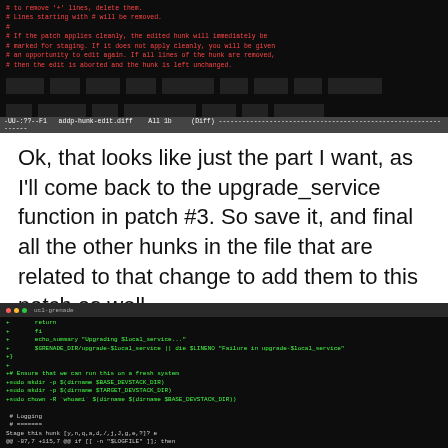[Figure (screenshot): Terminal/editor showing a diff file (addp-hunk-edit.diff) with red commented lines explaining hunk editing, followed by redacted dark blocks representing diff content. Status bar at bottom shows: -UU-:??--F1  addp-hunk-edit.diff  All 1b  (Diff)]
Ok, that looks like just the part I want, as I'll come back to the upgrade_service function in patch #3. So save it, and final all the other hunks in the file that are related to that change to add them to this patch as well.
[Figure (screenshot): Terminal window titled 'ucl-grenade' showing bash script diff with green added lines: return, fi, echo_summary commands, $GRENADE_DIR/upgrade-$local_service, Ensure fresh system comments, sudo mkdir commands, sudo chown command, Logging section, Stage this hunk prompt, @@ -87,7 +115,7 @@ if [[ -n "$LOGFILE" ]]; then, LOGNAME=$(basename "$LOGFILE"), echo 'Creating $LOGDIR....', mkdir -p $LOGDIR (red/removed), sudo mkdir -p $LOGDIR (green/added), find $LOGDIR command, LOGFILE=$(CURRENT_LOG_TIME)]